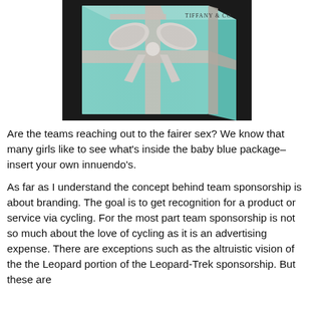[Figure (photo): A Tiffany & Co. light blue gift box with a white satin ribbon bow, with the Tiffany & Co. logo visible in the upper right of the box. The box is photographed on a dark surface.]
Are the teams reaching out to the fairer sex? We know that many girls like to see what's inside the baby blue package–insert your own innuendo's.
As far as I understand the concept behind team sponsorship is about branding.  The goal is to get recognition for a product or service via cycling.  For the most part team sponsorship is not so much about the love of cycling as it is an advertising expense.  There are exceptions such as the altruistic vision of the the Leopard portion of the Leopard-Trek sponsorship.  But these are